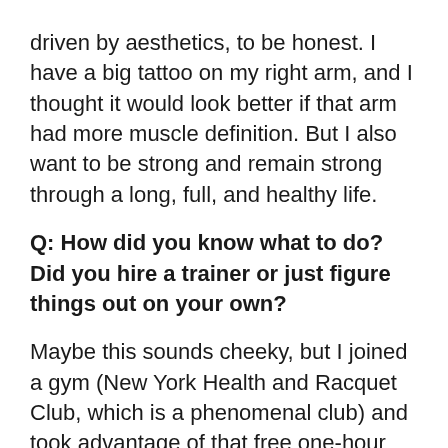driven by aesthetics, to be honest. I have a big tattoo on my right arm, and I thought it would look better if that arm had more muscle definition. But I also want to be strong and remain strong through a long, full, and healthy life.
Q: How did you know what to do? Did you hire a trainer or just figure things out on your own?
Maybe this sounds cheeky, but I joined a gym (New York Health and Racquet Club, which is a phenomenal club) and took advantage of that free one-hour personal training session that many health clubs offer. I have to admit, I did not look forward to doing it. I never worked with a trainer before then or since. But I wanted to learn some moves from a professional, and then take those